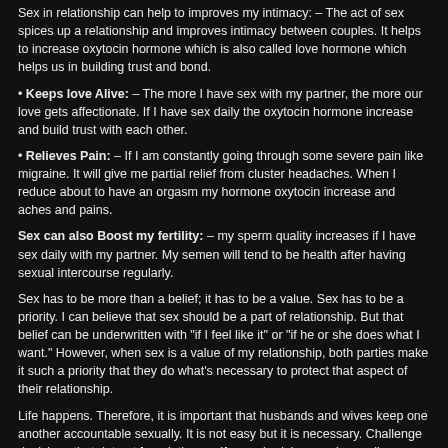Sex in relationship can help to improves my intimacy: – The act of sex spices up a relationship and improves intimacy between couples. It helps to increase oxytocin hormone which is also called love hormone which helps us in building trust and bond.
• Keeps love Alive: – The more I have sex with my partner, the more our love gets affectionate. If I have sex daily the oxytocin hormone increase and build trust with each other.
• Relieves Pain: – If I am constantly going through some severe pain like migraine. It will give me partial relief from cluster headaches. When I reduce about to have an orgasm my hormone oxytocin increase and aches and pains.
Sex can also Boost my fertility: – my sperm quality increases if I have sex daily with my partner. My semen will tend to be health after having sexual intercourse regularly.
Sex has to be more than a belief; it has to be a value. Sex has to be a priority. I can believe that sex should be a part of relationship. But that belief can be underwritten with "if I feel like it" or "if he or she does what I want." However, when sex is a value of my relationship, both parties make it such a priority that they do what's necessary to protect that aspect of their relationship.
Life happens. Therefore, it is important that husbands and wives keep one another accountable sexually. It is not easy but it is necessary. Challenge decisions that detract from intimacy. If my schedules are demanding, make an